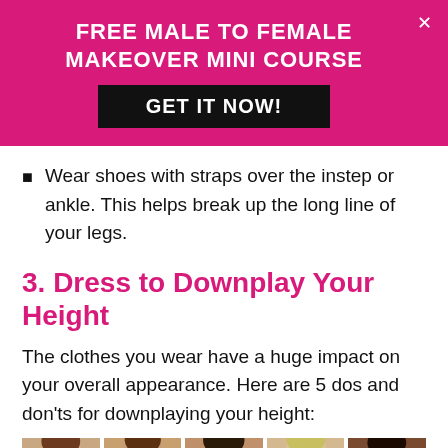FREE MALE TO FEMALE MAKEOVER MINI COURSE
GET IT NOW!
Wear shoes with straps over the instep or ankle. This helps break up the long line of your legs.
3. Dress to Downplay Your Height
The clothes you wear have a huge impact on your overall appearance. Here are 5 dos and don'ts for downplaying your height:
[Figure (photo): Five women in different outfits shown from approximately waist up, used to illustrate fashion tips for downplaying height.]